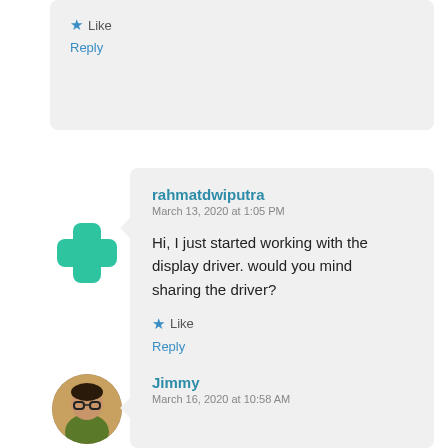[Figure (screenshot): Top partial comment card showing Like star and Reply link]
[Figure (illustration): Green cross/plus shaped avatar icon for user rahmatdwiputra]
rahmatdwiputra
March 13, 2020 at 1:05 PM

Hi, I just started working with the display driver. would you mind sharing the driver?
Like
Reply
[Figure (photo): Circular profile photo of user Jimmy showing a person with glasses]
Jimmy
March 16, 2020 at 10:58 AM